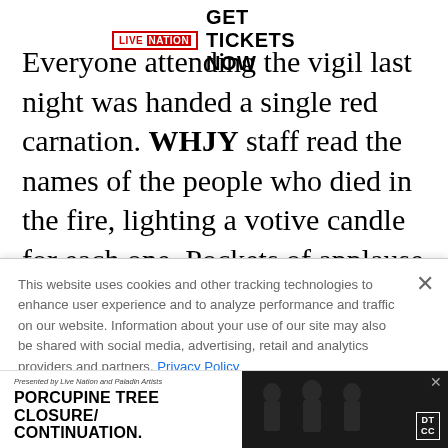[Figure (logo): Live Nation badge with GET TICKETS NOW text advertisement banner]
Everyone attending the vigil last night was handed a single red carnation. WHJY staff read the names of the people who died in the fire, lighting a votive candle for each one. Pockets of applause broke out from time to time, with the whole place responding when Gonsalves's name
This website uses cookies and other tracking technologies to enhance user experience and to analyze performance and traffic on our website. Information about your use of our site may also be shared with social media, advertising, retail and analytics providers and partners. Privacy Policy
[Figure (infographic): Bottom advertisement: Presented by Live Nation and Paladin Artists – PORCUPINE TREE CLOSURE/CONTINUATION. with band photo and DT/CC badge]